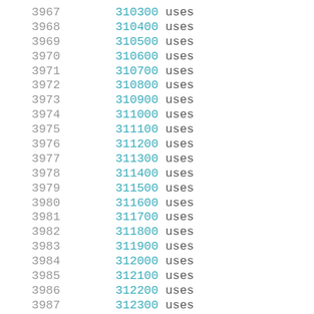3967  310300 uses
3968  310400 uses
3969  310500 uses
3970  310600 uses
3971  310700 uses
3972  310800 uses
3973  310900 uses
3974  311000 uses
3975  311100 uses
3976  311200 uses
3977  311300 uses
3978  311400 uses
3979  311500 uses
3980  311600 uses
3981  311700 uses
3982  311800 uses
3983  311900 uses
3984  312000 uses
3985  312100 uses
3986  312200 uses
3987  312300 uses